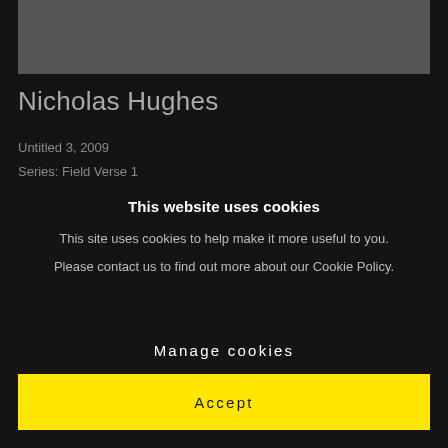[Figure (photo): Partial image placeholder at top of page, dark gray rectangle]
Nicholas Hughes
Untitled 3, 2009
Series: Field Verse 1
This website uses cookies
This site uses cookies to help make it more useful to you.
Please contact us to find out more about our Cookie Policy.
Manage cookies
Accept